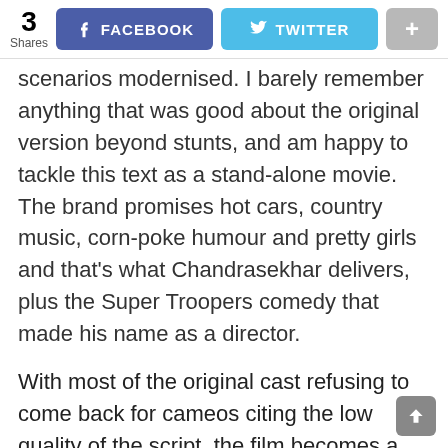3 Shares | FACEBOOK | TWITTER | +
scenarios modernised. I barely remember anything that was good about the original version beyond stunts, and am happy to tackle this text as a stand-alone movie. The brand promises hot cars, country music, corn-poke humour and pretty girls and that's what Chandrasekhar delivers, plus the Super Troopers comedy that made his name as a director.
With most of the original cast refusing to come back for cameos citing the low quality of the script, the film becomes a greatest hits package themed around moonshine running and breaking the law. Willie Nelson is patriarch Uncle Jesse, who struggles to dampen down the high spirits of the Duke Boys